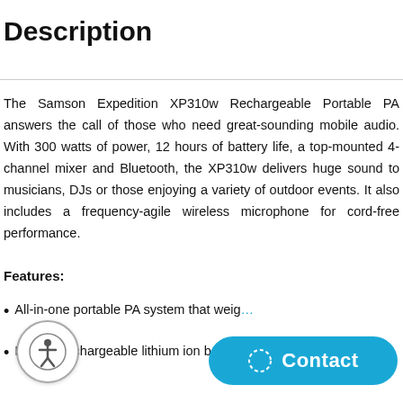Description
The Samson Expedition XP310w Rechargeable Portable PA answers the call of those who need great-sounding mobile audio. With 300 watts of power, 12 hours of battery life, a top-mounted 4-channel mixer and Bluetooth, the XP310w delivers huge sound to musicians, DJs or those enjoying a variety of outdoor events. It also includes a frequency-agile wireless microphone for cord-free performance.
Features:
All-in-one portable PA system that weigh…
Internal rechargeable lithium ion battery…